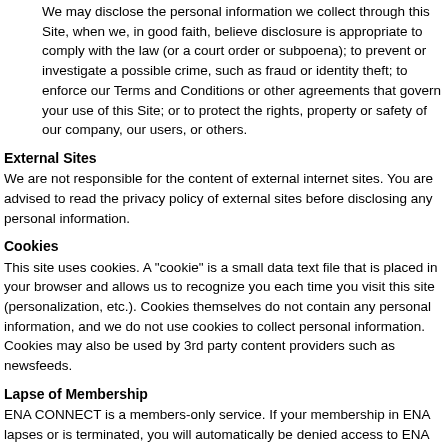We may disclose the personal information we collect through this Site, when we, in good faith, believe disclosure is appropriate to comply with the law (or a court order or subpoena); to prevent or investigate a possible crime, such as fraud or identity theft; to enforce our Terms and Conditions or other agreements that govern your use of this Site; or to protect the rights, property or safety of our company, our users, or others.
External Sites
We are not responsible for the content of external internet sites. You are advised to read the privacy policy of external sites before disclosing any personal information.
Cookies
This site uses cookies. A "cookie" is a small data text file that is placed in your browser and allows us to recognize you each time you visit this site (personalization, etc.). Cookies themselves do not contain any personal information, and we do not use cookies to collect personal information. Cookies may also be used by 3rd party content providers such as newsfeeds.
Lapse of Membership
ENA CONNECT is a members-only service. If your membership in ENA lapses or is terminated, you will automatically be denied access to ENA